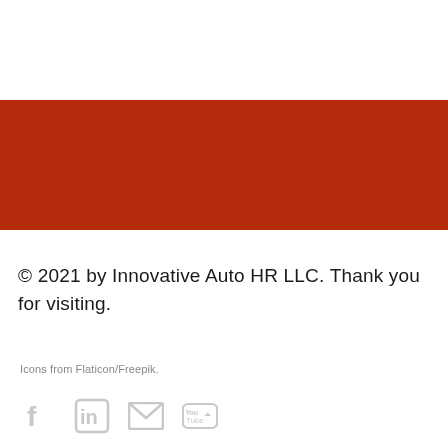[Figure (other): Dark red/brick colored horizontal banner bar]
© 2021 by Innovative Auto HR LLC. Thank you for visiting.
Icons from Flaticon/Freepik.
[Figure (other): Social media icons row: Facebook, LinkedIn, Email/Mail, YouTube]